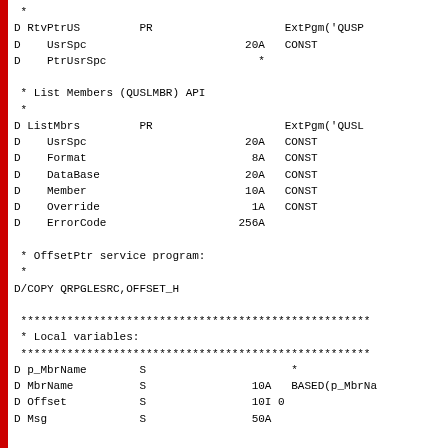*
D RtvPtrUS         PR                    ExtPgm('QUSP
D    UsrSpc                        20A   CONST
D    PtrUsrSpc                       *

 * List Members (QUSLMBR) API
 *
D ListMbrs         PR                    ExtPgm('QUSL
D    UsrSpc                        20A   CONST
D    Format                         8A   CONST
D    DataBase                       20A   CONST
D    Member                         10A   CONST
D    Override                        1A   CONST
D    ErrorCode                     256A

 * OffsetPtr service program:
 *
D/COPY QRPGLESRC,OFFSET_H

 *****************************************************
 * Local variables:
 *****************************************************
D p_MbrName        S                      *
D MbrName          S                10A   BASED(p_MbrNa
D Offset           S                10I 0
D Msg              S                50A


 *** Create the User Space QTEMP/MBRDATA
C                   callp     CrtUsrSpc('MBRDATA